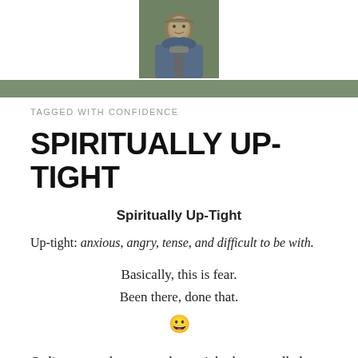[Figure (photo): Small portrait photo of a person outdoors, shown in a square crop at the top center of the page.]
TAGGED WITH CONFIDENCE
SPIRITUALLY UP-TIGHT
Spiritually Up-Tight
Up-tight: anxious, angry, tense, and difficult to be with.
Basically, this is fear.
Been there, done that.
😀
Ordinary people are mostly up-tight, but so-called spiritual people are a little more so!
Being up-tight is holding on the rules, while making life...